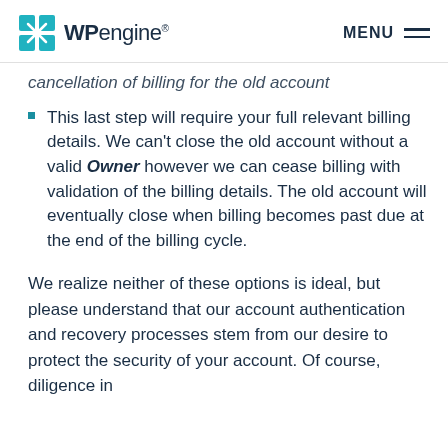WP engine MENU
cancellation of billing for the old account
This last step will require your full relevant billing details. We can't close the old account without a valid Owner however we can cease billing with validation of the billing details. The old account will eventually close when billing becomes past due at the end of the billing cycle.
We realize neither of these options is ideal, but please understand that our account authentication and recovery processes stem from our desire to protect the security of your account. Of course, diligence in